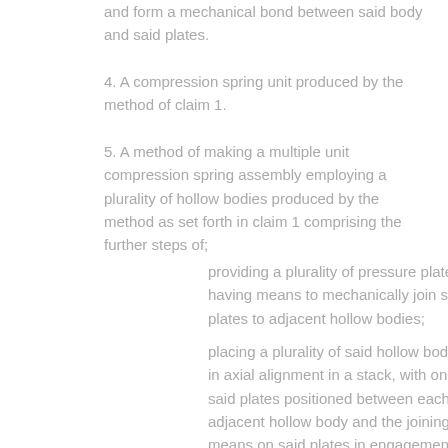and form a mechanical bond between said body and said plates.
4. A compression spring unit produced by the method of claim 1.
5. A method of making a multiple unit compression spring assembly employing a plurality of hollow bodies produced by the method as set forth in claim 1 comprising the further steps of;
providing a plurality of pressure plates having means to mechanically join said plates to adjacent hollow bodies;
placing a plurality of said hollow bodies in axial alignment in a stack, with one of said plates positioned between each adjacent hollow body and the joining means on said plates in engagement with the associated hollow bodies;
said axial force causing the elastomer material comprising said hollow bodies to flow and form a mechanical bond between said bodies and the